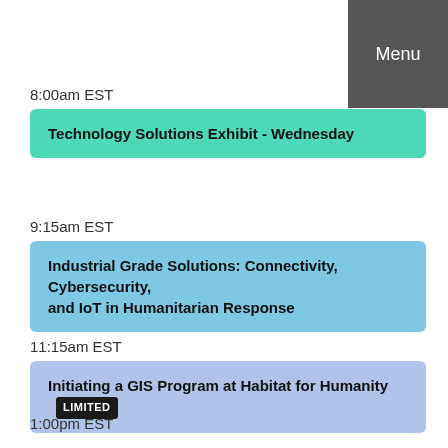Menu
8:00am EST
Technology Solutions Exhibit - Wednesday
9:15am EST
Industrial Grade Solutions: Connectivity, Cybersecurity, and IoT in Humanitarian Response
11:15am EST
Initiating a GIS Program at Habitat for Humanity LIMITED
1:00pm EST